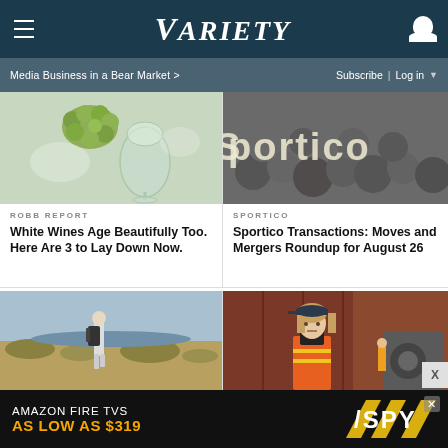VARIETY
Media Business in a Bear Market >
Subscribe | Log in
[Figure (photo): White wine glass with green grapes on light background]
ROBB REPORT
White Wines Age Beautifully Too. Here Are 3 to Lay Down Now.
[Figure (photo): Black and white crowd photo with Sportico text overlay]
SPORTICO
Sportico Transactions: Moves and Mergers Roundup for August 26
[Figure (photo): Person with backpack walking on coastal trail]
[Figure (photo): Woman in orange safety vest and cap on set]
[Figure (photo): Amazon Fire TVs advertisement - As Low As $319 with SPY logo]